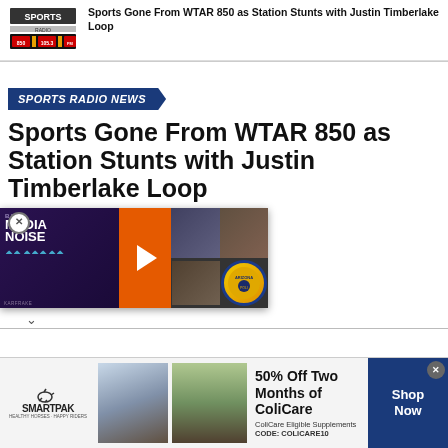Sports Gone From WTAR 850 as Station Stunts with Justin Timberlake Loop
[Figure (logo): Sports Radio logo - SPORTS RADIO with station frequencies]
SPORTS RADIO NEWS
Sports Gone From WTAR 850 as Station Stunts with Justin Timberlake Loop
that the new station owned by se the moniker "Judy".
[Figure (screenshot): BSM Media Noise podcast player widget with photos of media personalities and a podcast logo circle]
[Figure (infographic): SmartPak advertisement: 50% Off Two Months of ColiCare, ColiCare Eligible Supplements, CODE: COLICARE10, with Shop Now button]